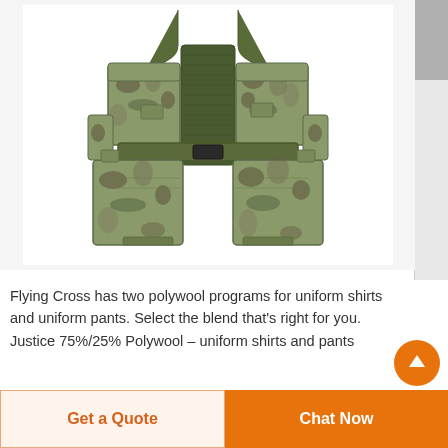[Figure (photo): Military tactical vest/chest rig in multicam camouflage pattern with multiple MOLLE pouches, shown from front view against white background]
Flying Cross has two polywool programs for uniform shirts and uniform pants. Select the blend that's right for you. Justice 75%/25% Polywool – uniform shirts and pants
Get a Quote
Chat Now